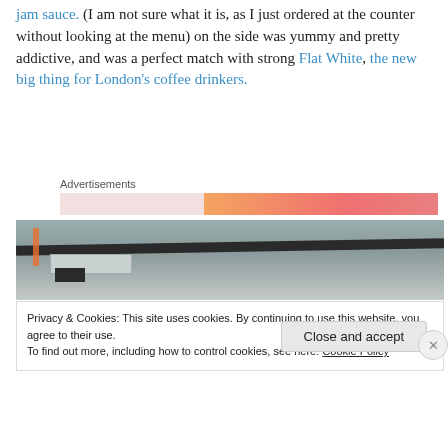jam sauce. (I am not sure what it is, as I just ordered at the counter without looking at the menu) on the side was yummy and pretty addictive, and was a perfect match with strong Flat White, the new big thing for London's coffee drinkers.
Advertisements
[Figure (photo): Interior ceiling photo of a cafe or restaurant showing industrial ceiling with dark beam, orange lamp, ductwork, and a small black sign.]
Privacy & Cookies: This site uses cookies. By continuing to use this website, you agree to their use. To find out more, including how to control cookies, see here: Cookie Policy
Close and accept